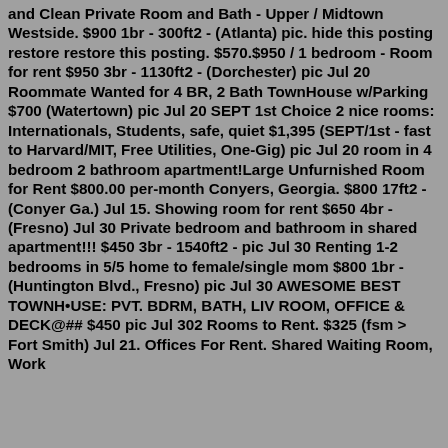and Clean Private Room and Bath - Upper / Midtown Westside. $900 1br - 300ft2 - (Atlanta) pic. hide this posting restore restore this posting. $570.$950 / 1 bedroom - Room for rent $950 3br - 1130ft2 - (Dorchester) pic Jul 20 Roommate Wanted for 4 BR, 2 Bath TownHouse w/Parking $700 (Watertown) pic Jul 20 SEPT 1st Choice 2 nice rooms: Internationals, Students, safe, quiet $1,395 (SEPT/1st - fast to Harvard/MIT, Free Utilities, One-Gig) pic Jul 20 room in 4 bedroom 2 bathroom apartment!Large Unfurnished Room for Rent $800.00 per-month Conyers, Georgia. $800 17ft2 - (Conyer Ga.) Jul 15. Showing room for rent $650 4br - (Fresno) Jul 30 Private bedroom and bathroom in shared apartment!!! $450 3br - 1540ft2 - pic Jul 30 Renting 1-2 bedrooms in 5/5 home to female/single mom $800 1br - (Huntington Blvd., Fresno) pic Jul 30 AWESOME BEST TOWNHOUSE: PVT. BDRM, BATH, LIV ROOM, OFFICE & DECK@## $450 pic Jul 302 Rooms to Rent. $325 (fsm > Fort Smith) Jul 21. Offices For Rent. Shared Waiting Room, Work